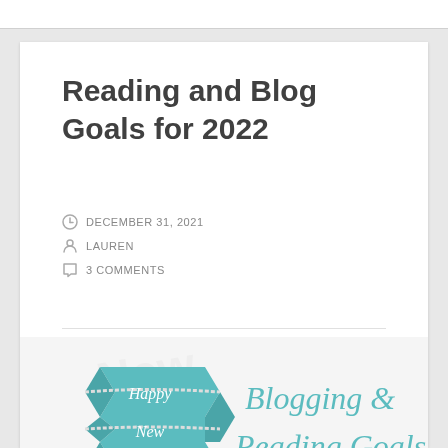Reading and Blog Goals for 2022
DECEMBER 31, 2021
LAUREN
3 COMMENTS
[Figure (illustration): Happy New Year ribbon banner on the left with teal cursive text reading 'Blogging & Reading Goals' on the right, with light watermark text in background]